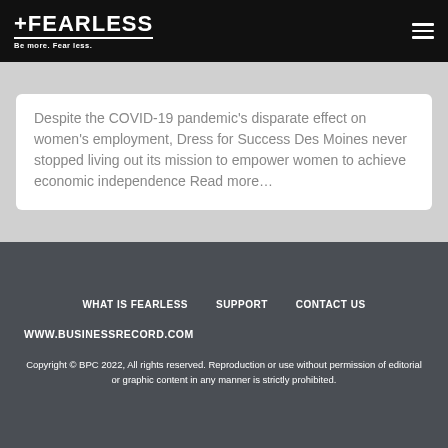FEARLESS — Be more. Fear less.
Despite the COVID-19 pandemic's disparate effect on women's employment, Dress for Success Des Moines never stopped living out its mission to empower women to achieve economic independence Read more…
WHAT IS FEARLESS   SUPPORT   CONTACT US
WWW.BUSINESSRECORD.COM
Copyright © BPC 2022, All rights reserved. Reproduction or use without permission of editorial or graphic content in any manner is strictly prohibited.